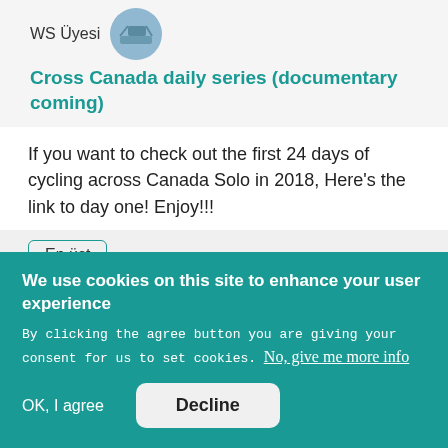WS Üyesi
Cross Canada daily series (documentary coming)
If you want to check out the first 24 days of cycling across Canada Solo in 2018, Here's the link to day one! Enjoy!!!
En üst
We use cookies on this site to enhance your user experience
By clicking the agree button you are giving your consent for us to set cookies. No, give me more info
OK, I agree
Decline